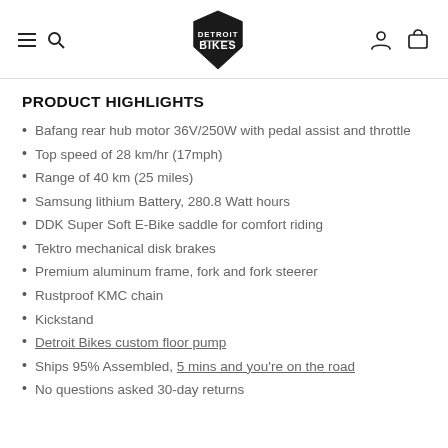Detroit Bikes (logo navigation header)
PRODUCT HIGHLIGHTS
Bafang rear hub motor 36V/250W with pedal assist and throttle
Top speed of 28 km/hr (17mph)
Range of 40 km (25 miles)
Samsung lithium Battery, 280.8 Watt hours
DDK Super Soft E-Bike saddle for comfort riding
Tektro mechanical disk brakes
Premium aluminum frame, fork and fork steerer
Rustproof KMC chain
Kickstand
Detroit Bikes custom floor pump
Ships 95% Assembled, 5 mins and you're on the road
No questions asked 30-day returns